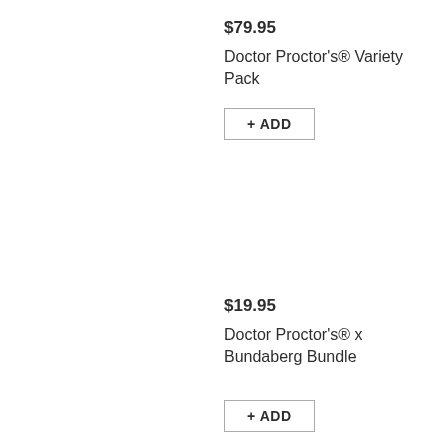$79.95
Doctor Proctor's® Variety Pack
+ ADD
$19.95
Doctor Proctor's® x Bundaberg Bundle
+ ADD